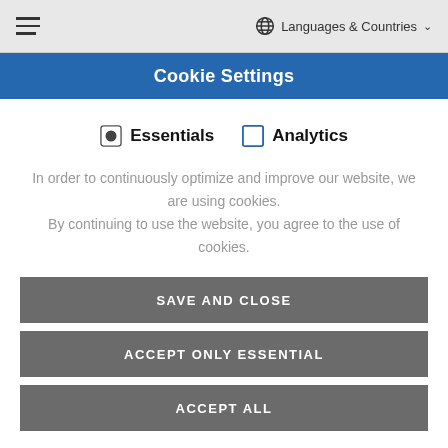Languages & Countries
Cookie Settings
Essentials  Analytics
In order to continuously optimize and improve our website, we are using cookies. By continuing to use the website, you agree to the use of cookies.
SAVE AND CLOSE
ACCEPT ONLY ESSENTIAL
ACCEPT ALL
Get more info about used cookies